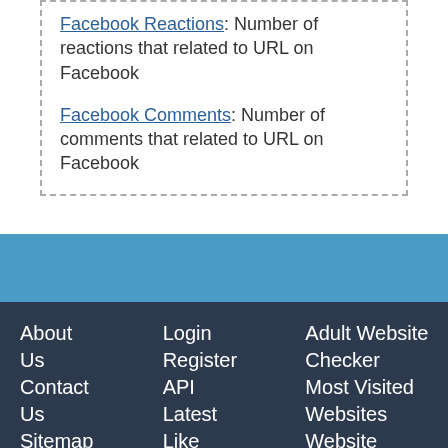Facebook Reactions: Number of reactions that related to URL on Facebook
Facebook Comments: Number of comments that related to URL on Facebook
About Us | Contact Us | Sitemap | Advertise | Remove | Help | Login | Register | API | Latest | Like | Adult Website Checker | Most Visited Websites | Website Hosting Finder | Website Traffic Checker | SEO Checker